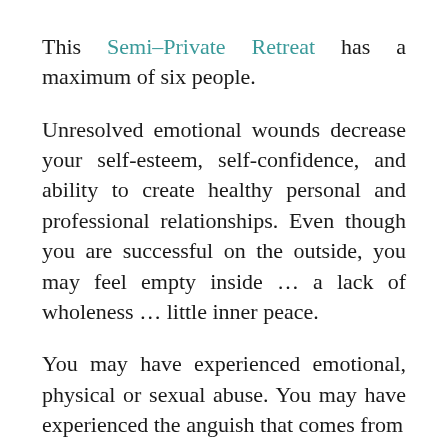This Semi-Private Retreat has a maximum of six people.
Unresolved emotional wounds decrease your self-esteem, self-confidence, and ability to create healthy personal and professional relationships. Even though you are successful on the outside, you may feel empty inside … a lack of wholeness … little inner peace.
You may have experienced emotional, physical or sexual abuse. You may have experienced the anguish that comes from